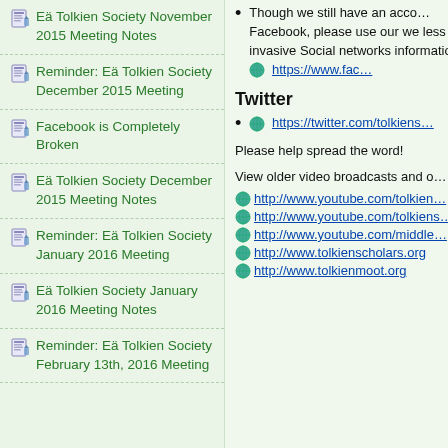Eä Tolkien Society November 2015 Meeting Notes
Reminder: Eä Tolkien Society December 2015 Meeting
Facebook is Completely Broken
Eä Tolkien Society December 2015 Meeting Notes
Reminder: Eä Tolkien Society January 2016 Meeting
Eä Tolkien Society January 2016 Meeting Notes
Reminder: Eä Tolkien Society February 13th, 2016 Meeting
Though we still have an account on Facebook, please use our we less invasive Social networks information https://www.fac…
Twitter
https://twitter.com/tolkiens…
Please help spread the word!
View older video broadcasts and o…
http://www.youtube.com/tolkien…
http://www.youtube.com/tolkiens…
http://www.youtube.com/middle…
http://www.tolkienscholars.org
http://www.tolkienmoot.org